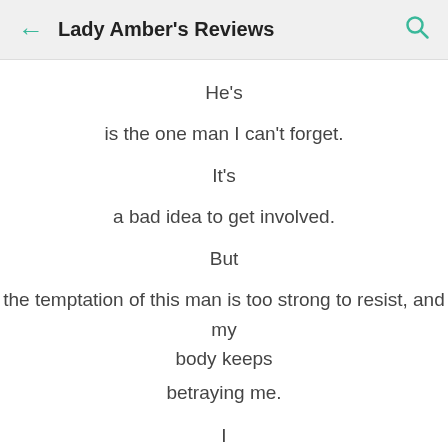Lady Amber's Reviews
He's
is the one man I can't forget.
It's
a bad idea to get involved.
But
the temptation of this man is too strong to resist, and my body keeps
betraying me.
I
know one day it will blow up in my face.
I
even know what day that will be